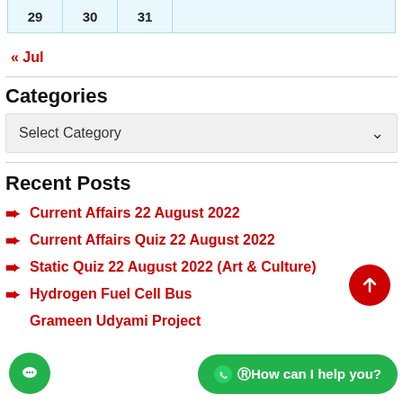| 29 | 30 | 31 |  |
« Jul
Categories
Select Category
Recent Posts
Current Affairs 22 August 2022
Current Affairs Quiz 22 August 2022
Static Quiz 22 August 2022 (Art & Culture)
Hydrogen Fuel Cell Bus
Grameen Udyami Project